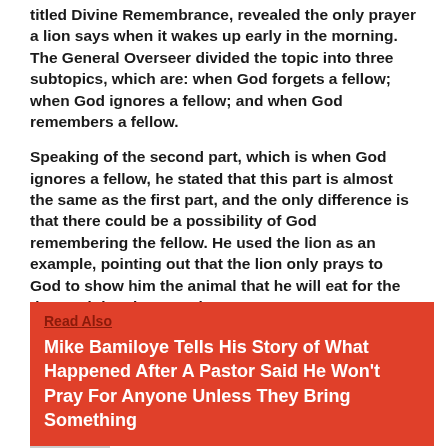titled Divine Remembrance, revealed the only prayer a lion says when it wakes up early in the morning. The General Overseer divided the topic into three subtopics, which are: when God forgets a fellow; when God ignores a fellow; and when God remembers a fellow.
Speaking of the second part, which is when God ignores a fellow, he stated that this part is almost the same as the first part, and the only difference is that there could be a possibility of God remembering the fellow. He used the lion as an example, pointing out that the lion only prays to God to show him the animal that he will eat for the day, and then ignores them.
Read Also
Mike Bamiloye Tells His Story of What Happened After A Pastor Said He Won't Pray For Anyone Unless They Bring Something